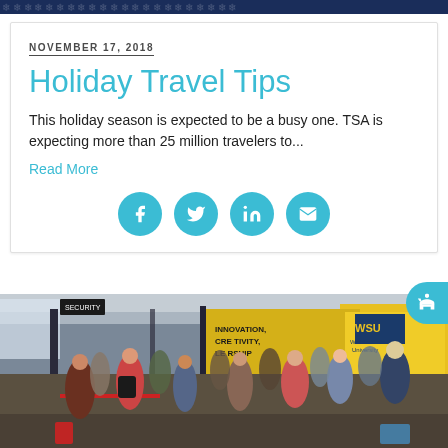NOVEMBER 17, 2018
Holiday Travel Tips
This holiday season is expected to be a busy one. TSA is expecting more than 25 million travelers to...
Read More
[Figure (infographic): Social media sharing icons: Facebook, Twitter, LinkedIn, Email — teal circular buttons]
[Figure (photo): Crowded airport terminal with travelers and luggage, yellow Wichita State University advertisement banner visible in background]